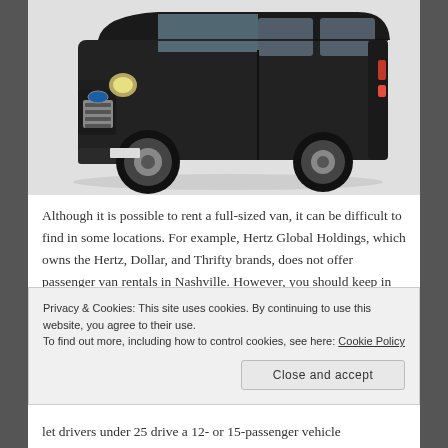[Figure (photo): Black Ford Transit full-sized passenger van, front three-quarter view on white background]
Although it is possible to rent a full-sized van, it can be difficult to find in some locations. For example, Hertz Global Holdings, which owns the Hertz, Dollar, and Thrifty brands, does not offer passenger van rentals in Nashville. However, you should keep in mind that you don't need a special
Privacy & Cookies: This site uses cookies. By continuing to use this website, you agree to their use.
To find out more, including how to control cookies, see here: Cookie Policy
let drivers under 25 drive a 12- or 15-passenger vehicle